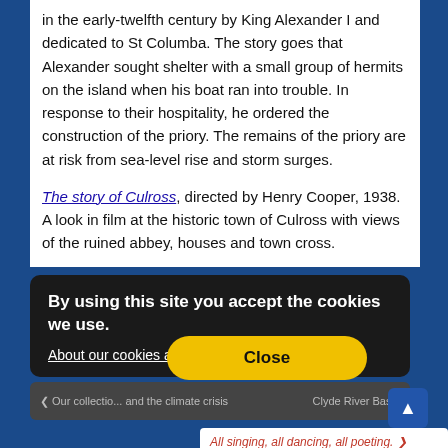in the early-twelfth century by King Alexander I and dedicated to St Columba. The story goes that Alexander sought shelter with a small group of hermits on the island when his boat ran into trouble. In response to their hospitality, he ordered the construction of the priory. The remains of the priory are at risk from sea-level rise and storm surges.
The story of Culross, directed by Henry Cooper, 1938. A look in film at the historic town of Culross with views of the ruined abbey, houses and town cross.
By using this site you accept the cookies we use.
About our cookies and how you can use them
Close
< Our collectio... and the climate crisis   Clyde River Basin
All singing, all dancing, all poeting. >